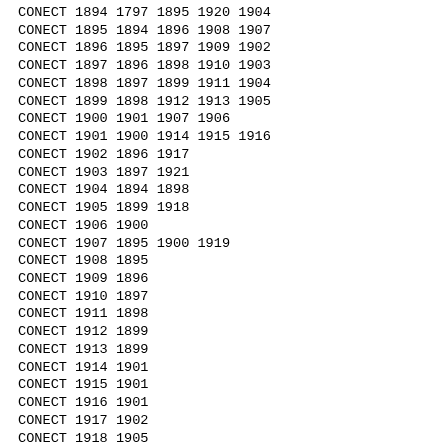CONECT 1894 1797 1895 1920 1904
CONECT 1895 1894 1896 1908 1907
CONECT 1896 1895 1897 1909 1902
CONECT 1897 1896 1898 1910 1903
CONECT 1898 1897 1899 1911 1904
CONECT 1899 1898 1912 1913 1905
CONECT 1900 1901 1907 1906
CONECT 1901 1900 1914 1915 1916
CONECT 1902 1896 1917
CONECT 1903 1897 1921
CONECT 1904 1894 1898
CONECT 1905 1899 1918
CONECT 1906 1900
CONECT 1907 1895 1900 1919
CONECT 1908 1895
CONECT 1909 1896
CONECT 1910 1897
CONECT 1911 1898
CONECT 1912 1899
CONECT 1913 1899
CONECT 1914 1901
CONECT 1915 1901
CONECT 1916 1901
CONECT 1917 1902
CONECT 1918 1905
CONECT 1919 1907
CONECT 1920 1894
CONECT 1921 1903 1922 1929 1938
CONECT 1922 1921 1923 1927 1939
CONECT 1923 1922 1924 1928 1940
CONECT 1924 1923 1923 1925 1941